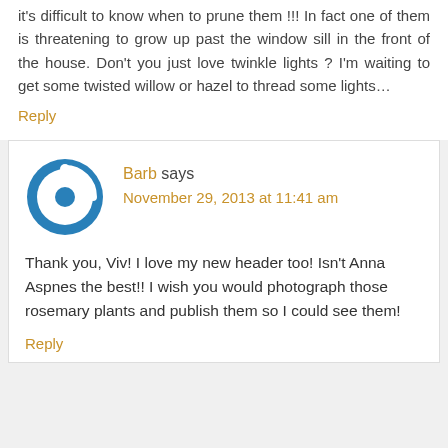it's difficult to know when to prune them !!! In fact one of them is threatening to grow up past the window sill in the front of the house. Don't you just love twinkle lights ? I'm waiting to get some twisted willow or hazel to thread some lights…
Reply
Barb says November 29, 2013 at 11:41 am
Thank you, Viv! I love my new header too! Isn't Anna Aspnes the best!! I wish you would photograph those rosemary plants and publish them so I could see them!
Reply